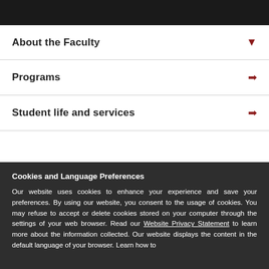[Figure (photo): Dark background image at top of page, partial view]
About the Faculty ▾
Programs →
Student life and services →
Cookies and Language Preferences
Our website uses cookies to enhance your experience and save your preferences. By using our website, you consent to the usage of cookies. You may refuse to accept or delete cookies stored on your computer through the settings of your web browser. Read our Website Privacy Statement to learn more about the information collected. Our website displays the content in the default language of your browser. Learn how to